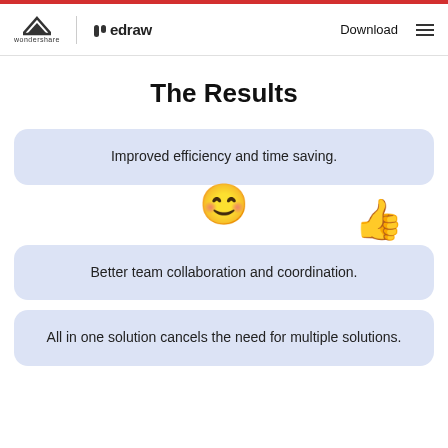wondershare | edraw — Download
The Results
Improved efficiency and time saving.
Better team collaboration and coordination.
All in one solution cancels the need for multiple solutions.